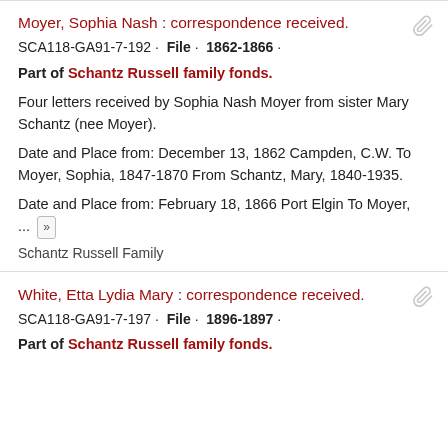Moyer, Sophia Nash : correspondence received.
SCA118-GA91-7-192 · File · 1862-1866 ·
Part of Schantz Russell family fonds.
Four letters received by Sophia Nash Moyer from sister Mary Schantz (nee Moyer).
Date and Place from: December 13, 1862 Campden, C.W. To Moyer, Sophia, 1847-1870 From Schantz, Mary, 1840-1935.
Date and Place from: February 18, 1866 Port Elgin To Moyer, ... »
Schantz Russell Family
White, Etta Lydia Mary : correspondence received.
SCA118-GA91-7-197 · File · 1896-1897 ·
Part of Schantz Russell family fonds.